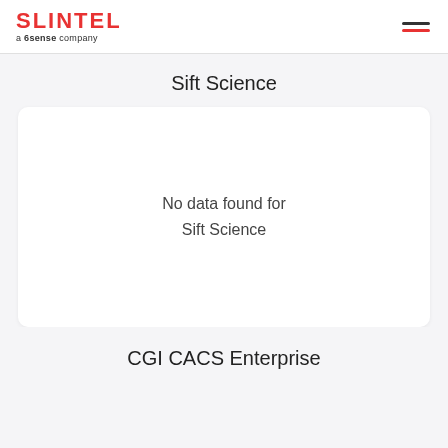SLINTEL a 6sense company
Sift Science
[Figure (other): Empty state card with message: No data found for Sift Science]
No data found for Sift Science
CGI CACS Enterprise